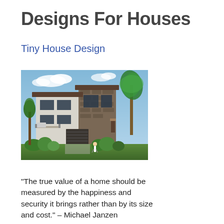Designs For Houses
Tiny House Design
[Figure (photo): Architectural rendering of a modern multi-story house with stone and white stucco exterior, large windows, balconies, surrounded by trees and greenery under a blue sky.]
“The true value of a home should be measured by the happiness and security it brings rather than by its size and cost.” – Michael Janzen